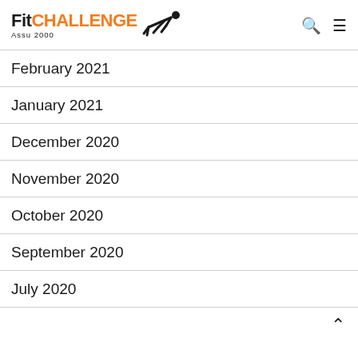Fit CHALLENGE Assu 2000
February 2021
January 2021
December 2020
November 2020
October 2020
September 2020
July 2020